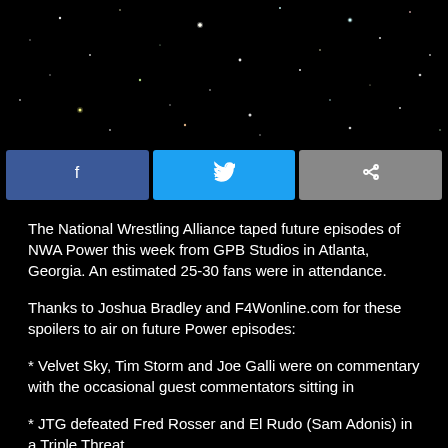[Figure (photo): Dark starfield background image with colored stars and bokeh on black background]
[Figure (infographic): Social sharing buttons: Facebook (blue), Twitter (light blue), and Share (gray) icons]
The National Wrestling Alliance taped future episodes of NWA Power this week from GPB Studios in Atlanta, Georgia. An estimated 25-30 fans were in attendance.
Thanks to Joshua Bradley and F4Wonline.com for these spoilers to air on future Power episodes:
* Velvet Sky, Tim Storm and Joe Galli were on commentary with the occasional guest commentators sitting in
* JTG defeated Fred Rosser and El Rudo (Sam Adonis) in a Triple Threat
* Kelin D... defeated Mali...